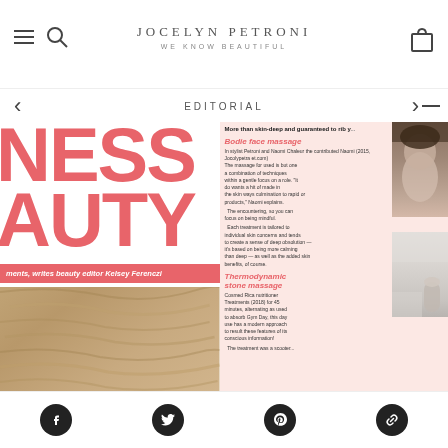JOCELYN PETRONI — WE KNOW BEAUTIFUL
EDITORIAL
[Figure (photo): Magazine editorial spread showing beauty/wellness treatments. Left side: large pink text reading 'NESS AUTY' (partial 'WELLNESS BEAUTY') with italic subtitle 'ments, writes beauty editor Kelsey Ferenczi' on a pink bar, and a close-up photo of hair. Right side: pink-background article page with heading 'More than skin-deep and guaranteed to rib y...' with sections 'Bodie face massage' and 'Thermodynamic stone massage' and accompanying photos of a woman receiving facial treatment.]
Social media icons: Facebook, Twitter, Pinterest, Link